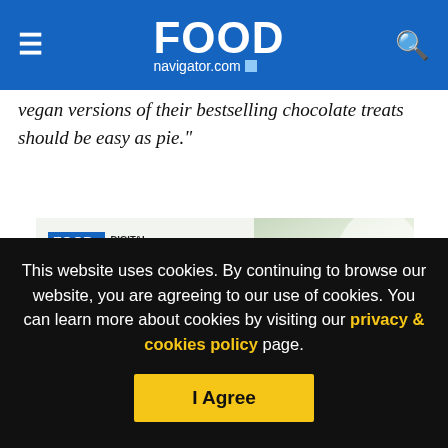FOODnavigator.com
vegan versions of their bestselling chocolate treats should be easy as pie."
[Figure (screenshot): FoodNavigator Digital Summit 2022 Climate Smart Food advertisement banner showing logo, date 20-22 September 2022, and text 'Climate Smart Food' with a background photo of green plants/food]
This website uses cookies. By continuing to browse our website, you are agreeing to our use of cookies. You can learn more about cookies by visiting our privacy & cookies policy page.